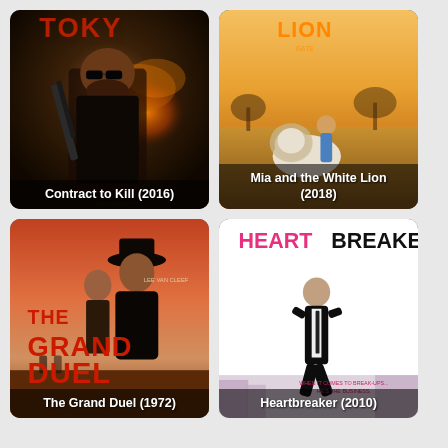[Figure (photo): Movie poster for Contract to Kill (2016) - action film with man holding rifle, explosions in background]
[Figure (photo): Movie poster for Mia and the White Lion (2018) - girl running with white lion on African savanna, Lion logo at top]
[Figure (photo): Movie poster for The Grand Duel (1972) - western film with Lee Van Cleef, red bold text THE GRAND DUEL]
[Figure (photo): Movie poster for Heartbreaker (2010) - man in black suit running, HEARTBREAKER title at top in pink and black]